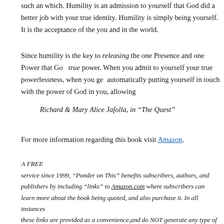...such an which. Humility is an admission to yourself that God did a better job with your true identity. Humility is simply being yourself. It is the acceptance of the you and in the world.
Since humility is the key to releasing the one Presence and one Power that God... true power. When you admit to yourself your true powerlessness, when you ge... automatically putting yourself in touch with the power of God in you, allowing...
Richard & Mary Alice Jafolla, in “The Quest”
For more information regarding this book visit Amazon.
A FREE
service since 1999, “Ponder on This” benefits subscribers, authors, and publishers by including “links” to Amazon.com where subscribers can learn more about the book being quoted, and also purchase it. In all instances these links are provided as a convenience,and do NOT generate any type of compensation for Pondercentral.